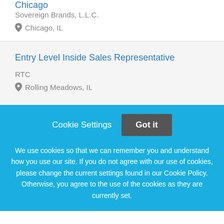Chicago
Sovereign Brands, L.L.C.
Chicago, IL
Entry Level Inside Sales Representative
RTC
Rolling Meadows, IL
Cookie Settings
Got it
We use cookies so that we can remember you and understand how you use our site. If you do not agree with our use of cookies, please change the current settings found in our Cookie Policy. Otherwise, you agree to the use of the cookies as they are currently set.